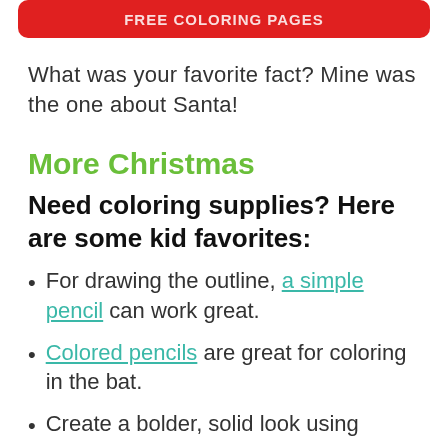FREE COLORING PAGES
What was your favorite fact? Mine was the one about Santa!
More Christmas
Need coloring supplies? Here are some kid favorites:
For drawing the outline, a simple pencil can work great.
Colored pencils are great for coloring in the bat.
Create a bolder, solid look using